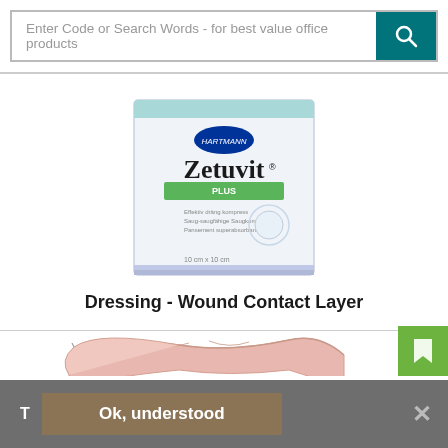[Figure (screenshot): Search bar with text input field 'Enter Code or Search Words - for best value office products' and a teal search button with magnifying glass icon]
[Figure (photo): Zetuvit Plus wound dressing product box by Hartmann, white box with teal/green accent stripe, showing product name and size information]
Dressing - Wound Contact Layer
[Figure (photo): Pink/beige wound contact layer dressing material, shown unrolled partially]
T
Ok, understood
×